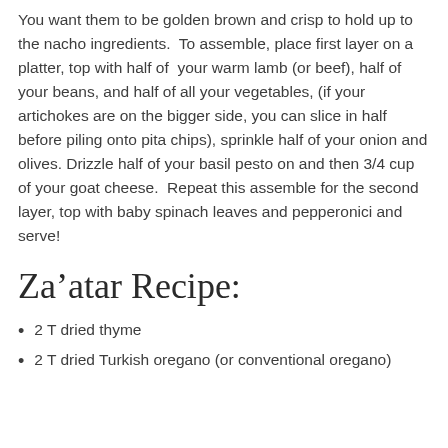You want them to be golden brown and crisp to hold up to the nacho ingredients. To assemble, place first layer on a platter, top with half of your warm lamb (or beef), half of your beans, and half of all your vegetables, (if your artichokes are on the bigger side, you can slice in half before piling onto pita chips), sprinkle half of your onion and olives. Drizzle half of your basil pesto on and then 3/4 cup of your goat cheese. Repeat this assemble for the second layer, top with baby spinach leaves and pepperonici and serve!
Za'atar Recipe:
2 T dried thyme
2 T dried Turkish oregano (or conventional oregano)